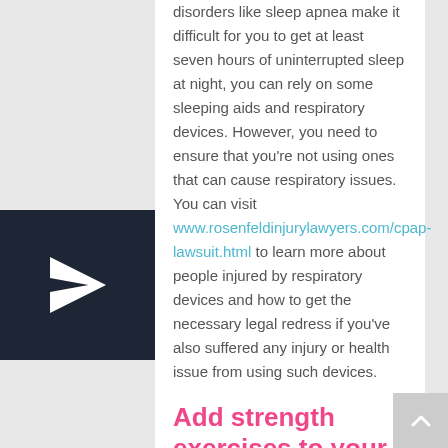disorders like sleep apnea make it difficult for you to get at least seven hours of uninterrupted sleep at night, you can rely on some sleeping aids and respiratory devices. However, you need to ensure that you're not using ones that can cause respiratory issues. You can visit www.rosenfeldinjurylawyers.com/cpap-lawsuit.html to learn more about people injured by respiratory devices and how to get the necessary legal redress if you've also suffered any injury or health issue from using such devices.
[Figure (illustration): Dark navy square with a white paper plane icon (send/arrow symbol)]
Add strength exercises to your fitness regime